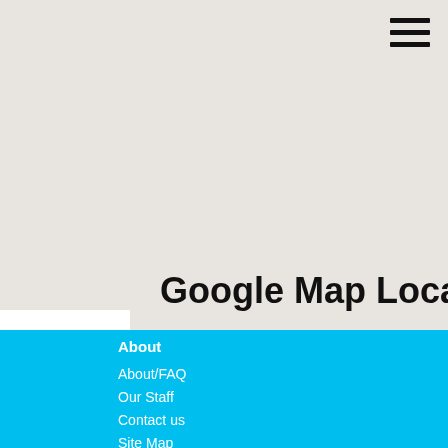[Figure (map): Google Map area showing a light grey map background]
Google Map Location
About
About/FAQ
Our Staff
Contact us
Site Map
Links